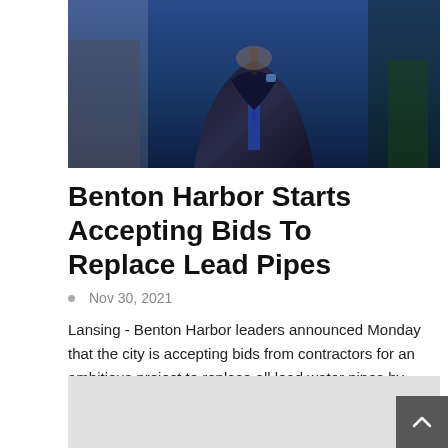[Figure (photo): A man in a dark pinstripe suit with a blue striped tie and blue pocket square, standing at a podium with a microphone, photographed from the chest up.]
Benton Harbor Starts Accepting Bids To Replace Lead Pipes
Nov 30, 2021
Lansing - Benton Harbor leaders announced Monday that the city is accepting bids from contractors for an ambitious project to replace all lead water pipes by 2023 at the latest due...
[Figure (other): Gray placeholder box (advertisement or image area)]